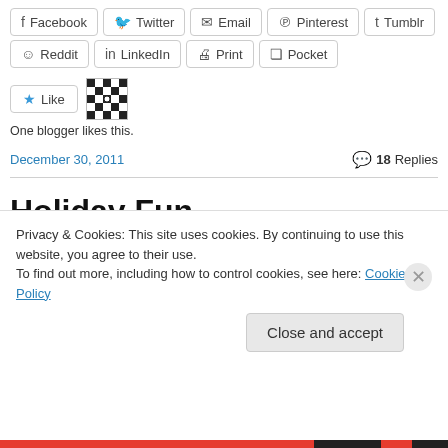Facebook  Twitter  Email  Pinterest  Tumblr
Reddit  LinkedIn  Print  Pocket
Like
One blogger likes this.
December 30, 2011  18 Replies
Holiday Fun
Privacy & Cookies: This site uses cookies. By continuing to use this website, you agree to their use. To find out more, including how to control cookies, see here: Cookie Policy
Close and accept